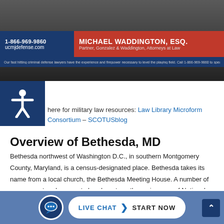[Figure (screenshot): Video screenshot of Michael Waddington, Esq. with blue banner showing phone number 1-866-969-9860 and ucmjdefense.com, red banner with name MICHAEL WADDINGTON, ESQ., Partner, Gonzalez & Waddington, Attorneys at Law, and a blue sub-banner with legal disclaimer text.]
here for military law resources: Law Library Microform Consortium – SCOTUSblog
Overview of Bethesda, MD
Bethesda northwest of Washington D.C., in southern Montgomery County, Maryland, is a census-designated place. Bethesda takes its name from a local church, the Bethesda Meeting House. A number of government and corporate headquarters, the main camp of National Institutes of Health, the Walter Reed National Military Medical Center, the
[Figure (screenshot): Live Chat start now bar at the bottom of the page with chat icon, LIVE CHAT and START NOW button on blue background.]